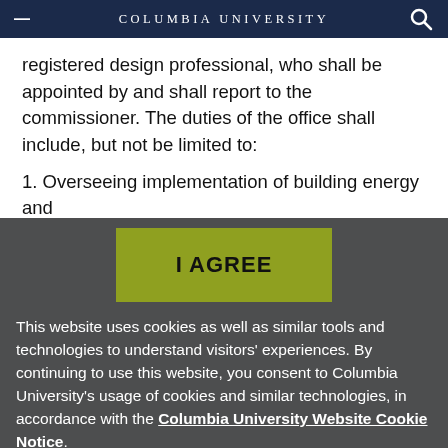Columbia University
registered design professional, who shall be appointed by and shall report to the commissioner. The duties of the office shall include, but not be limited to:
1. Overseeing implementation of building energy and
[Figure (other): I AGREE button — olive/yellow-green rectangular button with black bold text 'I AGREE']
This website uses cookies as well as similar tools and technologies to understand visitors' experiences. By continuing to use this website, you consent to Columbia University's usage of cookies and similar technologies, in accordance with the Columbia University Website Cookie Notice.